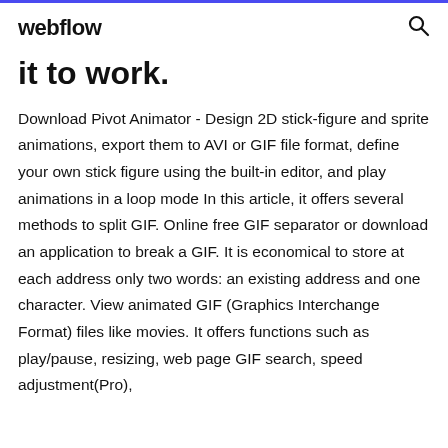webflow
it to work.
Download Pivot Animator - Design 2D stick-figure and sprite animations, export them to AVI or GIF file format, define your own stick figure using the built-in editor, and play animations in a loop mode In this article, it offers several methods to split GIF. Online free GIF separator or download an application to break a GIF. It is economical to store at each address only two words: an existing address and one character. View animated GIF (Graphics Interchange Format) files like movies. It offers functions such as play/pause, resizing, web page GIF search, speed adjustment(Pro),